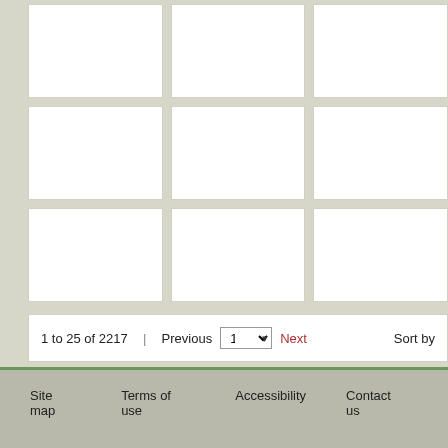[Figure (screenshot): A grid of 9 empty white thumbnail cells arranged in 3 columns and 3 rows on a light gray background, with a pagination bar at the bottom showing '1 to 25 of 2217 | Previous [1 ▾] Next ... Sort by']
1 to 25 of 2217  |  Previous  1  Next  Sort by
Site map    Terms of use    Accessibility    Contact us